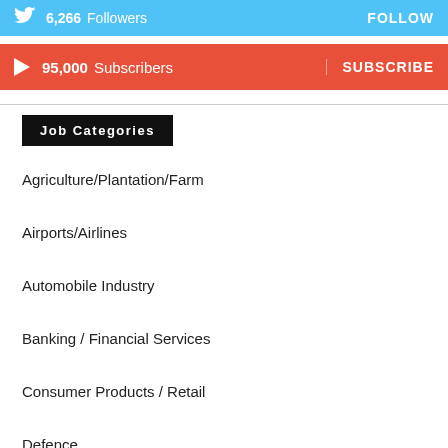[Figure (infographic): Twitter follow bar showing 6,266 Followers and a FOLLOW button on cyan background]
[Figure (infographic): YouTube subscribe bar showing 95,000 Subscribers and a SUBSCRIBE button on red background]
Job Categories
Agriculture/Plantation/Farm
Airports/Airlines
Automobile Industry
Banking / Financial Services
Consumer Products / Retail
Defence
Engineering/Construction/Fabrication/Real Estate
Facility Management